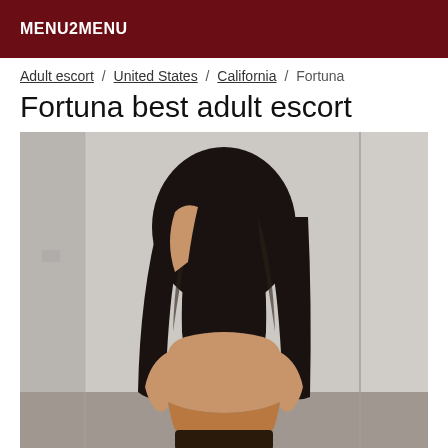MENU2MENU
Adult escort / United States / California / Fortuna
Fortuna best adult escort
[Figure (photo): A person with long dark hair photographed from behind in a mirrored room]